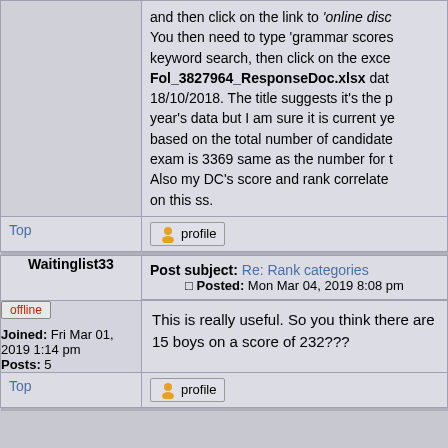and then click on the link to 'online disc... You then need to type 'grammar scores' keyword search, then click on the excel... Fol_3827964_ResponseDoc.xlsx date... 18/10/2018. The title suggests it's the p... year's data but I am sure it is current ye... based on the total number of candidates... exam is 3369 same as the number for th... Also my DC's score and rank correlate t... on this ss.
Top
Post subject: Re: Rank categories
Posted: Mon Mar 04, 2019 8:08 pm
Waitinglist33
offline
Joined: Fri Mar 01, 2019 1:14 pm
Posts: 5
This is really useful. So you think there are 15 boys on a score of 232???
Top